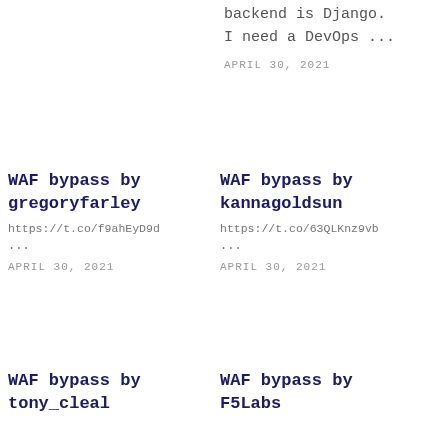backend is Django.
I need a DevOps ...
APRIL 30, 2021
WAF bypass by gregoryfarley
https://t.co/f9ahEyD9d
...
APRIL 30, 2021
WAF bypass by kannagoldsun
https://t.co/63QLKnz9vb
...
APRIL 30, 2021
WAF bypass by tony_cleal
WAF bypass by F5Labs